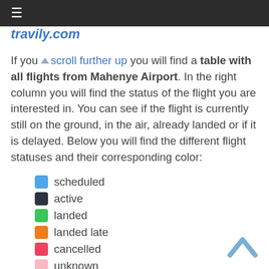≡
travily.com
If you ↑scroll further up you will find a table with all flights from Mahenye Airport. In the right column you will find the status of the flight you are interested in. You can see if the flight is currently still on the ground, in the air, already landed or if it is delayed. Below you will find the different flight statuses and their corresponding color:
scheduled
active
landed
landed late
cancelled
unknown